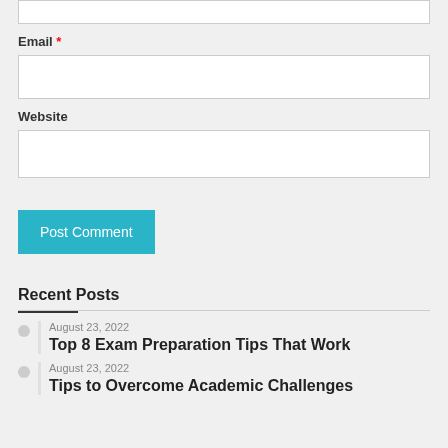Email *
Website
Post Comment
Recent Posts
August 23, 2022
Top 8 Exam Preparation Tips That Work
August 23, 2022
Tips to Overcome Academic Challenges